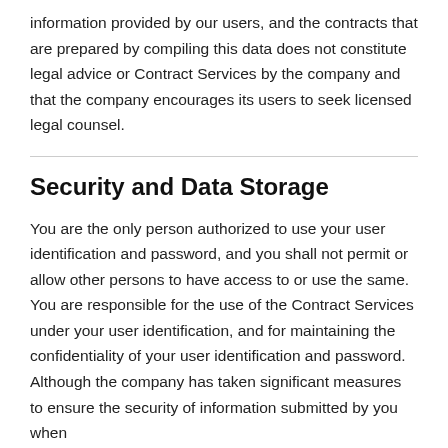information provided by our users, and the contracts that are prepared by compiling this data does not constitute legal advice or Contract Services by the company and that the company encourages its users to seek licensed legal counsel.
Security and Data Storage
You are the only person authorized to use your user identification and password, and you shall not permit or allow other persons to have access to or use the same. You are responsible for the use of the Contract Services under your user identification, and for maintaining the confidentiality of your user identification and password. Although the company has taken significant measures to ensure the security of information submitted by you when